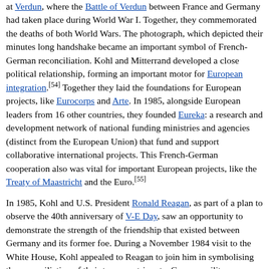at Verdun, where the Battle of Verdun between France and Germany had taken place during World War I. Together, they commemorated the deaths of both World Wars. The photograph, which depicted their minutes long handshake became an important symbol of French-German reconciliation. Kohl and Mitterrand developed a close political relationship, forming an important motor for European integration.[54] Together they laid the foundations for European projects, like Eurocorps and Arte. In 1985, alongside European leaders from 16 other countries, they founded Eureka: a research and development network of national funding ministries and agencies (distinct from the European Union) that fund and support collaborative international projects. This French-German cooperation also was vital for important European projects, like the Treaty of Maastricht and the Euro.[55]
In 1985, Kohl and U.S. President Ronald Reagan, as part of a plan to observe the 40th anniversary of V-E Day, saw an opportunity to demonstrate the strength of the friendship that existed between Germany and its former foe. During a November 1984 visit to the White House, Kohl appealed to Reagan to join him in symbolising the reconciliation of their two countries at a German military cemetery. Reagan visited Germany as part of the 11th G7 summit in Bonn; then he and Kohl visited Bergen-Belsen concentration camp on 5 May and the German military cemetery at Bitburg.